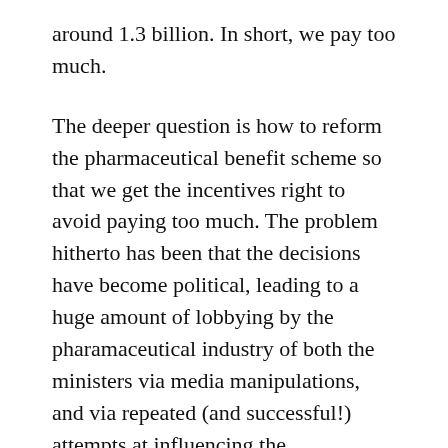around 1.3 billion. In short, we pay too much.
The deeper question is how to reform the pharmaceutical benefit scheme so that we get the incentives right to avoid paying too much. The problem hitherto has been that the decisions have become political, leading to a huge amount of lobbying by the pharamaceutical industry of both the ministers via media manipulations, and via repeated (and successful!) attempts at influencing the composition and work methods of the current scheme, forever expanding its budget.
Duckett has now started calling for a more independent monopsony scheme that would be